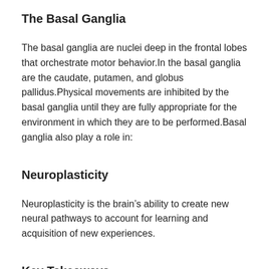The Basal Ganglia
The basal ganglia are nuclei deep in the frontal lobes that orchestrate motor behavior.In the basal ganglia are the caudate, putamen, and globus pallidus.Physical movements are inhibited by the basal ganglia until they are fully appropriate for the environment in which they are to be performed.Basal ganglia also play a role in:
Neuroplasticity
Neuroplasticity is the brain’s ability to create new neural pathways to account for learning and acquisition of new experiences.
Key Takeaways